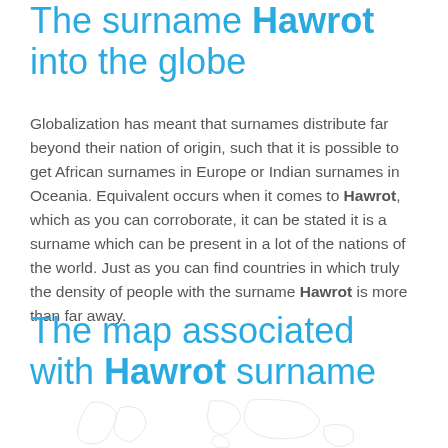The surname Hawrot into the globe
Globalization has meant that surnames distribute far beyond their nation of origin, such that it is possible to get African surnames in Europe or Indian surnames in Oceania. Equivalent occurs when it comes to Hawrot, which as you can corroborate, it can be stated it is a surname which can be present in a lot of the nations of the world. Just as you can find countries in which truly the density of people with the surname Hawrot is more than far away.
The map associated with Hawrot surname
[Figure (map): Faint world map illustration shown at the bottom of the page]